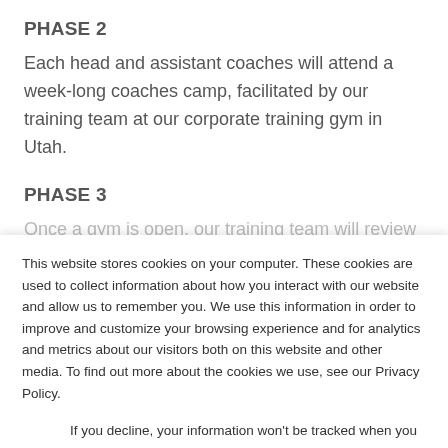PHASE 2
Each head and assistant coaches will attend a week-long coaches camp, facilitated by our training team at our corporate training gym in Utah.
PHASE 3
Once a gym is open, our training team will review
This website stores cookies on your computer. These cookies are used to collect information about how you interact with our website and allow us to remember you. We use this information in order to improve and customize your browsing experience and for analytics and metrics about our visitors both on this website and other media. To find out more about the cookies we use, see our Privacy Policy.
If you decline, your information won't be tracked when you visit this website. A single cookie will be used in your browser to remember your preference not to be tracked.
Accept
Decline